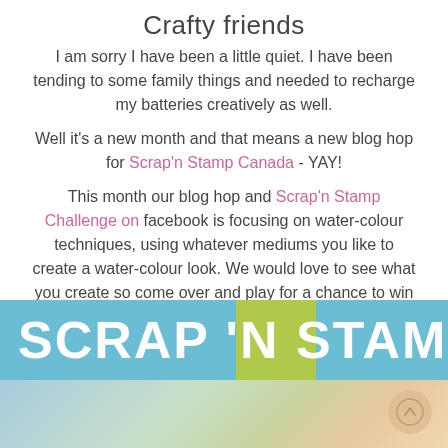Crafty friends
I am sorry I have been a little quiet.  I have been tending to some family things and needed to recharge my batteries creatively as well.
Well it's a new month and that means a new blog hop for Scrap'n Stamp Canada - YAY!
This month our blog hop and Scrap'n Stamp Challenge on facebook is focusing on water-colour techniques, using whatever mediums you like to create a water-colour look.  We would love to see what you create so come over and play for a chance to win there as well.
[Figure (logo): Scrap 'N Stamp Canada logo banner with blue background, green rectangle accent, white bold text reading SCRAP 'N STAMP, and a watercolour blended bottom section]